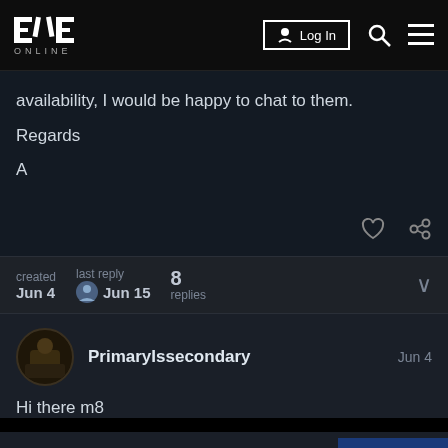EVE ONLINE — Log In
availability, I would be happy to chat to them.
Regards
A
created Jun 4   last reply Jun 15   8 replies
PrimaryIssecondary   Jun 4
Hi there m8
have a read on our 10 reasons why you
1 / 9